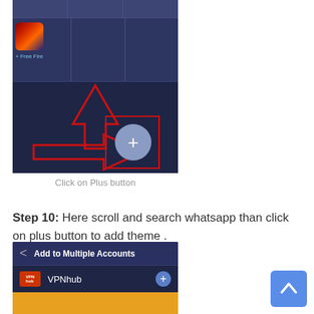[Figure (screenshot): Mobile app screenshot showing a grid of apps with a plus button highlighted by red arrow annotations pointing to it]
Click on Plus button
Step 10: Here scroll and search whatsapp than click on plus button to add theme .
[Figure (screenshot): Mobile screenshot showing 'Add to Multiple Accounts' screen with VPNhub entry and a plus button]